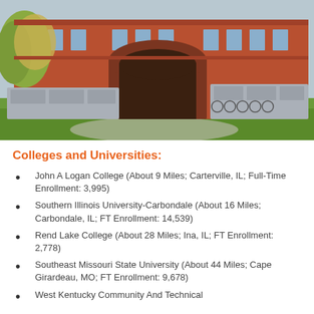[Figure (photo): Exterior photo of a large red brick university building with arched entrances, stone barriers, bicycle racks, trees with autumn foliage, and a green lawn in the foreground.]
Colleges and Universities:
John A Logan College (About 9 Miles; Carterville, IL; Full-Time Enrollment: 3,995)
Southern Illinois University-Carbondale (About 16 Miles; Carbondale, IL; FT Enrollment: 14,539)
Rend Lake College (About 28 Miles; Ina, IL; FT Enrollment: 2,778)
Southeast Missouri State University (About 44 Miles; Cape Girardeau, MO; FT Enrollment: 9,678)
West Kentucky Community And Technical